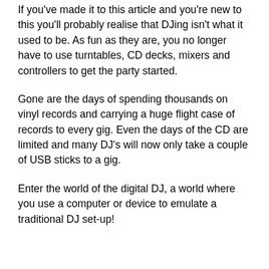If you've made it to this article and you're new to this you'll probably realise that DJing isn't what it used to be. As fun as they are, you no longer have to use turntables, CD decks, mixers and controllers to get the party started.
Gone are the days of spending thousands on vinyl records and carrying a huge flight case of records to every gig. Even the days of the CD are limited and many DJ's will now only take a couple of USB sticks to a gig.
Enter the world of the digital DJ, a world where you use a computer or device to emulate a traditional DJ set-up!